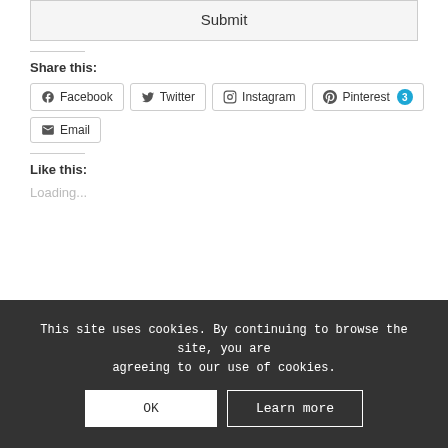Submit
Share this:
Facebook
Twitter
Instagram
Pinterest 3
Email
Like this:
Loading...
This site uses cookies. By continuing to browse the site, you are agreeing to our use of cookies.
OK
Learn more